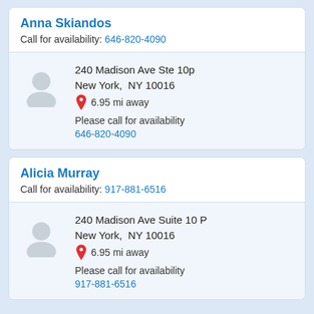Anna Skiandos
Call for availability: 646-820-4090
240 Madison Ave Ste 10p
New York,  NY 10016
6.95 mi away
Please call for availability
646-820-4090
Alicia Murray
Call for availability: 917-881-6516
240 Madison Ave Suite 10 P
New York,  NY 10016
6.95 mi away
Please call for availability
917-881-6516